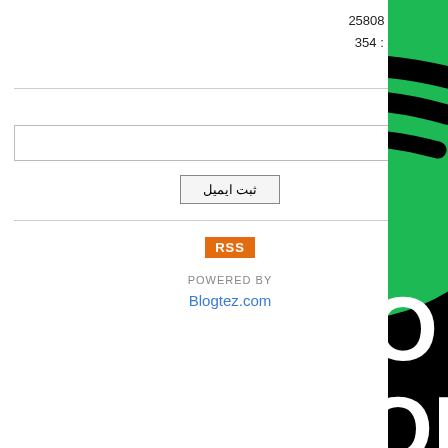بازدید کل : 25808
کل مطالب : 354
نظرات : 5
خبرنامه
[email input field]
ثبت ایمیل
[Figure (logo): RSS orange badge logo]
POWERED BY
Blogtez.com
[Figure (infographic): Spotify promotion advertisement with green Spotify logo on black background, text SPO... PROM... ORDER... WWW.BLACKWHIT...]